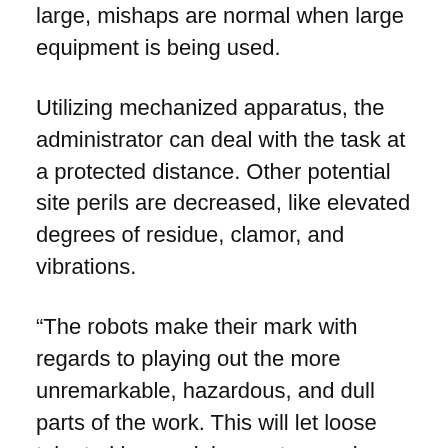large, mishaps are normal when large equipment is being used.
Utilizing mechanized apparatus, the administrator can deal with the task at a protected distance. Other potential site perils are decreased, like elevated degrees of residue, clamor, and vibrations.
“The robots make their mark with regards to playing out the more unremarkable, hazardous, and dull parts of the work. This will let loose talented human laborers to zero in on different regions, similar to the more perplexing assignments like stacking trucks and unearthing utility lines.” Indeed, human government assistance is significantly upgraded by the utilization of robots on building